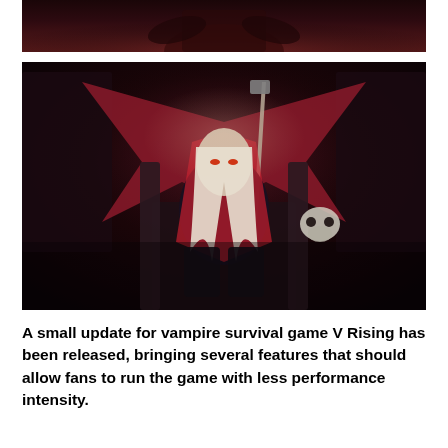[Figure (photo): Top portion of a vampire character image from the game V Rising, cropped at the top of the page showing a dark background with reddish tones]
[Figure (photo): A pale vampire character with long white hair, pointed ears, wearing a dark armored outfit with a red cape, sitting on a throne and holding a staff. A skull is visible to the right. Dark atmospheric background in deep reds and blacks. This is artwork from the game V Rising.]
A small update for vampire survival game V Rising has been released, bringing several features that should allow fans to run the game with less performance intensity.